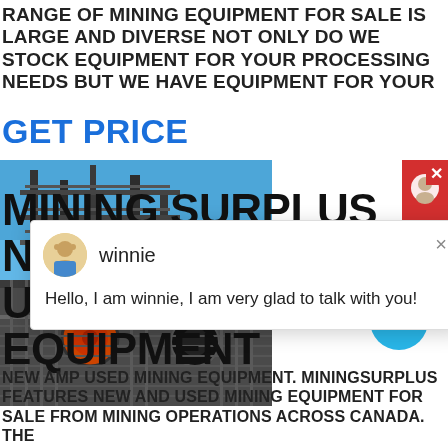RANGE OF MINING EQUIPMENT FOR SALE IS LARGE AND DIVERSE NOT ONLY DO WE STOCK EQUIPMENT FOR YOUR PROCESSING NEEDS BUT WE HAVE EQUIPMENT FOR YOUR
GET PRICE
[Figure (photo): Photo of mining equipment including industrial machinery and structures against a blue sky, with machinery components visible in the lower portion]
[Figure (screenshot): Chat popup widget with avatar of a person named winnie, close button (x), and message: Hello, I am winnie, I am very glad to talk with you!]
[Figure (other): Red chat support widget icon in top right corner with X close button]
[Figure (other): Blue circular badge with number 1]
MINING SURPLUS NEW AND USED MINING EQUIPMENT
NEW AMP USED MINING EQUIPMENT. MININGSURPLUS FEATURES NEW AND USED MINING EQUIPMENT FOR SALE FROM MINING OPERATIONS ACROSS CANADA. THE